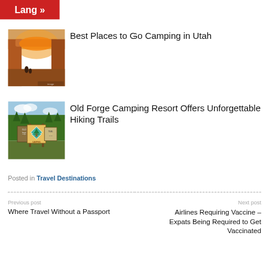[Figure (screenshot): Red button with white text 'Lang »' in top-left corner]
[Figure (photo): Photo of a natural arch in Utah with orange rock formations and people visible below]
Best Places to Go Camping in Utah
[Figure (photo): Photo of the Old Forge Camping Resort sign with a pine tree diamond logo, surrounded by green foliage]
Old Forge Camping Resort Offers Unforgettable Hiking Trails
Posted in Travel Destinations
Previous post
Where Travel Without a Passport
Next post
Airlines Requiring Vaccine – Expats Being Required to Get Vaccinated